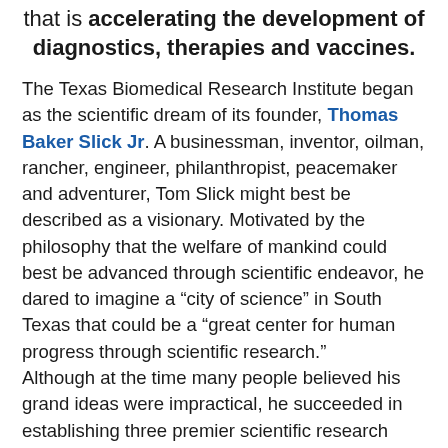that is accelerating the development of diagnostics, therapies and vaccines.
The Texas Biomedical Research Institute began as the scientific dream of its founder, Thomas Baker Slick Jr. A businessman, inventor, oilman, rancher, engineer, philanthropist, peacemaker and adventurer, Tom Slick might best be described as a visionary. Motivated by the philosophy that the welfare of mankind could best be advanced through scientific endeavor, he dared to imagine a “city of science” in South Texas that could be a “great center for human progress through scientific research.” Although at the time many people believed his grand ideas were impractical, he succeeded in establishing three premier scientific research organizations that